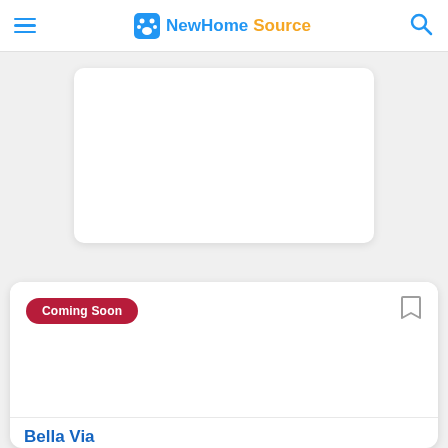NewHomeSource
[Figure (other): Advertisement or image card placeholder (white rounded rectangle on gray background)]
[Figure (other): Listing card image area with Coming Soon badge (crimson pill badge) and bookmark icon]
Bella Via
by Taylor Morrison
Welcome to Bella Via, an ideally located condo community in Port Charlotte. Designed to offer the...